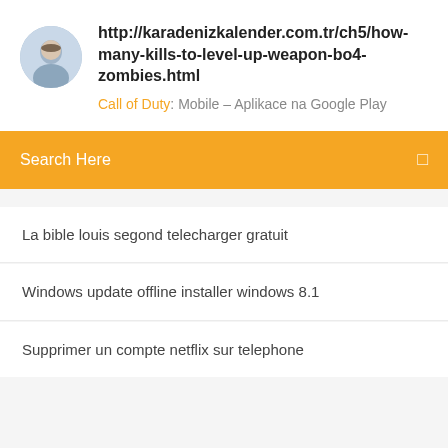http://karadenizkalender.com.tr/ch5/how-many-kills-to-level-up-weapon-bo4-zombies.html
Call of Duty: Mobile – Aplikace na Google Play
Search Here
La bible louis segond telecharger gratuit
Windows update offline installer windows 8.1
Supprimer un compte netflix sur telephone